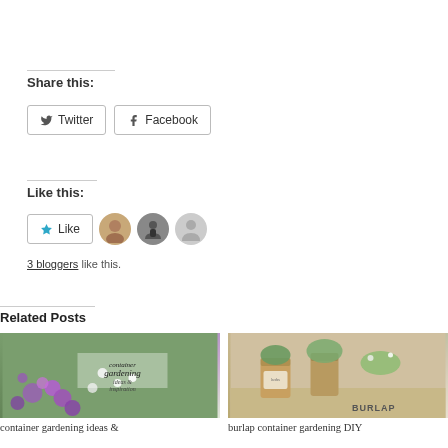Share this:
Twitter  Facebook
Like this:
3 bloggers like this.
Related Posts
[Figure (photo): Container gardening ideas and inspiration — purple and white flowers in garden]
container gardening ideas &
[Figure (photo): Burlap container gardening DIY — herbs in burlap-wrapped pots]
burlap container gardening DIY